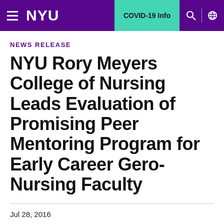NYU | COVID-19 Info
NEWS RELEASE
NYU Rory Meyers College of Nursing Leads Evaluation of Promising Peer Mentoring Program for Early Career Gero-Nursing Faculty
Jul 28, 2016